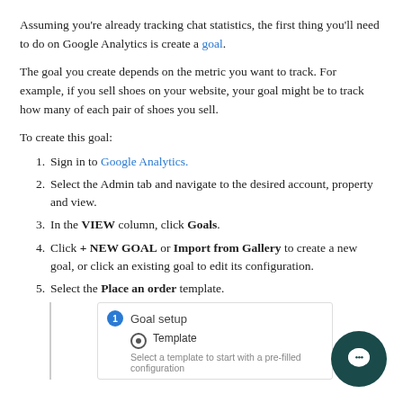Assuming you're already tracking chat statistics, the first thing you'll need to do on Google Analytics is create a goal.
The goal you create depends on the metric you want to track. For example, if you sell shoes on your website, your goal might be to track how many of each pair of shoes you sell.
To create this goal:
1. Sign in to Google Analytics.
2. Select the Admin tab and navigate to the desired account, property and view.
3. In the VIEW column, click Goals.
4. Click + NEW GOAL or Import from Gallery to create a new goal, or click an existing goal to edit its configuration.
5. Select the Place an order template.
[Figure (screenshot): Google Analytics Goal setup screenshot showing step 1 'Goal setup' with Template radio option selected and description 'Select a template to start with a pre-filled configuration']